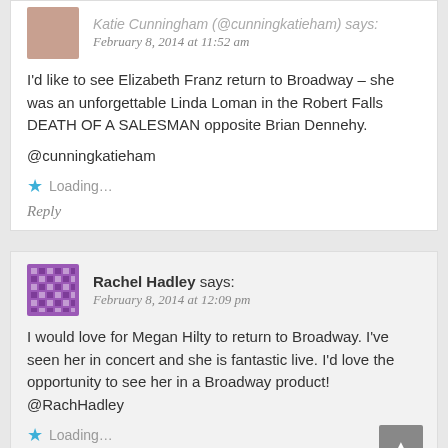Katie Cunningham (@cunningkatieham) says: February 8, 2014 at 11:52 am
I'd like to see Elizabeth Franz return to Broadway – she was an unforgettable Linda Loman in the Robert Falls DEATH OF A SALESMAN opposite Brian Dennehy.
@cunningkatieham
Loading...
Reply
Rachel Hadley says: February 8, 2014 at 12:09 pm
I would love for Megan Hilty to return to Broadway. I've seen her in concert and she is fantastic live. I'd love the opportunity to see her in a Broadway product! @RachHadley
Loading...
Reply